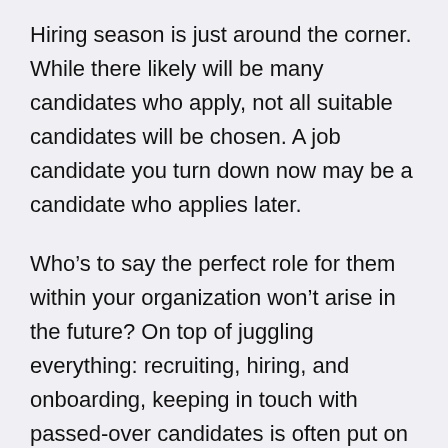Hiring season is just around the corner. While there likely will be many candidates who apply, not all suitable candidates will be chosen. A job candidate you turn down now may be a candidate who applies later.
Who's to say the perfect role for them within your organization won't arise in the future? On top of juggling everything: recruiting, hiring, and onboarding, keeping in touch with passed-over candidates is often put on the back burner. It happens. Because of this, it's vital to remember best hiring etiquette and foster these budding candidate relationships even during a tumultuous hiring season.